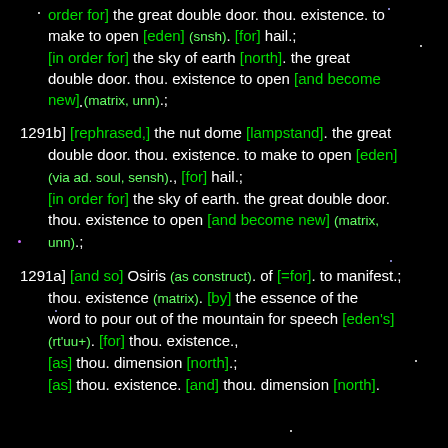order for] the great double door. thou. existence. to make to open [eden] (snsh). [for] hail.; [in order for] the sky of earth [north]. the great double door. thou. existence to open [and become new] (matrix, unn).;
1291b] [rephrased,] the nut dome [lampstand]. the great double door. thou. existence. to make to open [eden] (via ad. soul, sensh)., [for] hail.; [in order for] the sky of earth. the great double door. thou. existence to open [and become new] (matrix, unn).;
1291a] [and so] Osiris (as construct). of [=for]. to manifest.; thou. existence (matrix). [by] the essence of the word to pour out of the mountain for speech [eden's] (rt'uu+). [for] thou. existence., [as] thou. dimension [north].; [as] thou. existence. [and] thou. dimension [north].